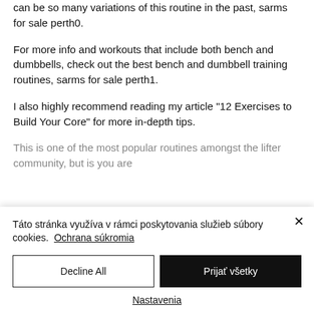can be so many variations of this routine in the past, sarms for sale perth0.
For more info and workouts that include both bench and dumbbells, check out the best bench and dumbbell training routines, sarms for sale perth1.
I also highly recommend reading my article "12 Exercises to Build Your Core" for more in-depth tips.
This is one of the most popular routines amongst the lifter community, but is you are
Táto stránka využíva v rámci poskytovania služieb súbory cookies.  Ochrana súkromia
Decline All
Prijať všetky
Nastavenia